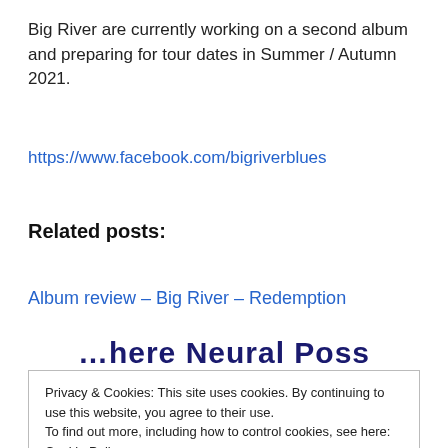Big River are currently working on a second album and preparing for tour dates in Summer / Autumn 2021.
https://www.facebook.com/bigriverblues
Related posts:
Album review – Big River – Redemption
Where Neural Poss Works Best
Privacy & Cookies: This site uses cookies. By continuing to use this website, you agree to their use.
To find out more, including how to control cookies, see here: Cookie Policy